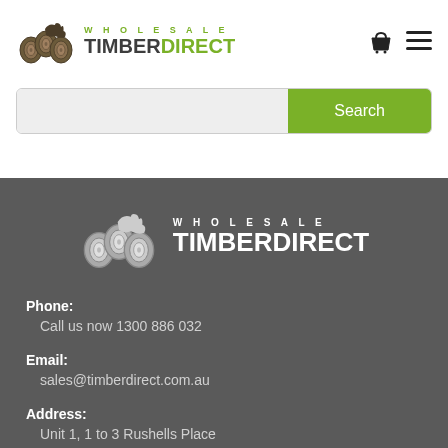[Figure (logo): Wholesale Timber Direct logo with timber rolls icon, WHOLESALE in green spaced caps, TIMBER in dark grey bold, DIRECT in green bold]
[Figure (other): Shopping basket icon and hamburger menu icon in top right header]
[Figure (other): Search bar with grey input field and green Search button]
[Figure (logo): Wholesale Timber Direct white footer logo with timber rolls icon in white]
Phone:
Call us now 1300 886 032
Email:
sales@timberdirect.com.au
Address:
Unit 1, 1 to 3 Rushells Place